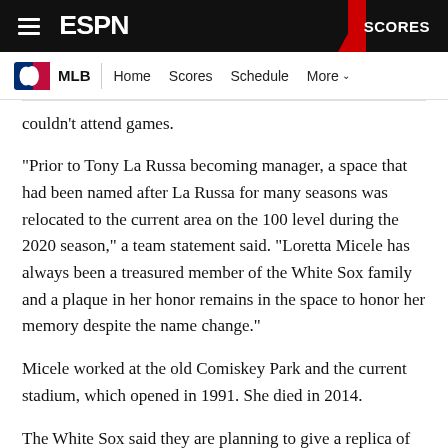ESPN | MLB | Home | Scores | Schedule | More | SCORES
couldn't attend games.
"Prior to Tony La Russa becoming manager, a space that had been named after La Russa for many seasons was relocated to the current area on the 100 level during the 2020 season," a team statement said. "Loretta Micele has always been a treasured member of the White Sox family and a plaque in her honor remains in the space to honor her memory despite the name change."
Micele worked at the old Comiskey Park and the current stadium, which opened in 1991. She died in 2014.
The White Sox said they are planning to give a replica of the Loretta's Lounge sign to the family.